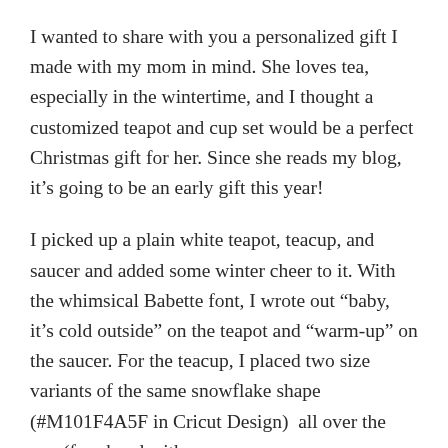I wanted to share with you a personalized gift I made with my mom in mind. She loves tea, especially in the wintertime, and I thought a customized teapot and cup set would be a perfect Christmas gift for her. Since she reads my blog, it’s going to be an early gift this year!
I picked up a plain white teapot, teacup, and saucer and added some winter cheer to it. With the whimsical Babette font, I wrote out “baby, it’s cold outside” on the teapot and “warm-up” on the saucer. For the teacup, I placed two size variants of the same snowflake shape (#M101F4A5F in Cricut Design)  all over the cup (free-hand with